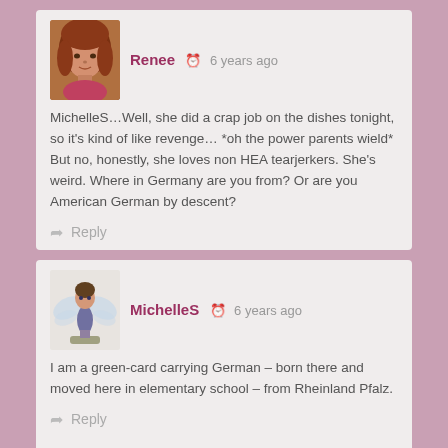[Figure (photo): Avatar photo of user Renee showing a woman with reddish-brown hair]
Renee  6 years ago
MichelleS…Well, she did a crap job on the dishes tonight, so it's kind of like revenge… *oh the power parents wield* But no, honestly, she loves non HEA tearjerkers. She's weird. Where in Germany are you from? Or are you American German by descent?
Reply
[Figure (illustration): Avatar image of user MichelleS showing a fairy figurine on a base]
MichelleS  6 years ago
I am a green-card carrying German – born there and moved here in elementary school – from Rheinland Pfalz.
Reply